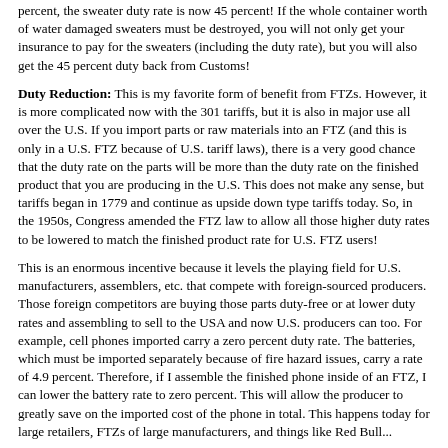percent, the sweater duty rate is now 45 percent! If the whole container worth of water damaged sweaters must be destroyed, you will not only get your insurance to pay for the sweaters (including the duty rate), but you will also get the 45 percent duty back from Customs!
Duty Reduction: This is my favorite form of benefit from FTZs. However, it is more complicated now with the 301 tariffs, but it is also in major use all over the U.S. If you import parts or raw materials into an FTZ (and this is only in a U.S. FTZ because of U.S. tariff laws), there is a very good chance that the duty rate on the parts will be more than the duty rate on the finished product that you are producing in the U.S. This does not make any sense, but tariffs began in 1779 and continue as upside down type tariffs today. So, in the 1950s, Congress amended the FTZ law to allow all those higher duty rates to be lowered to match the finished product rate for U.S. FTZ users!
This is an enormous incentive because it levels the playing field for U.S. manufacturers, assemblers, etc. that compete with foreign-sourced producers. Those foreign competitors are buying those parts duty-free or at lower duty rates and assembling to sell to the USA and now U.S. producers can too. For example, cell phones imported carry a zero percent duty rate. The batteries, which must be imported separately because of fire hazard issues, carry a rate of 4.9 percent. Therefore, if I assemble the finished phone inside of an FTZ, I can lower the battery rate to zero percent. This will allow the producer to greatly save on the imported cost of the phone in total. This happens today for large retailers, FTZs of large manufacturers, and things like Red Bull...